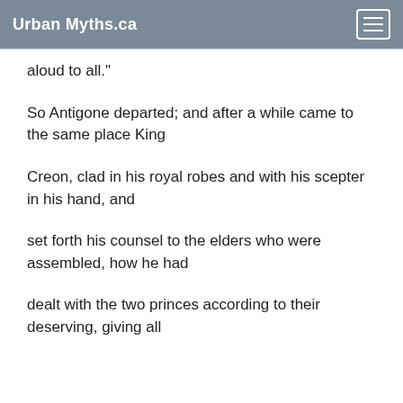Urban Myths.ca
aloud to all."
So Antigone departed; and after a while came to the same place King
Creon, clad in his royal robes and with his scepter in his hand, and
set forth his counsel to the elders who were assembled, how he had
dealt with the two princes according to their deserving, giving all